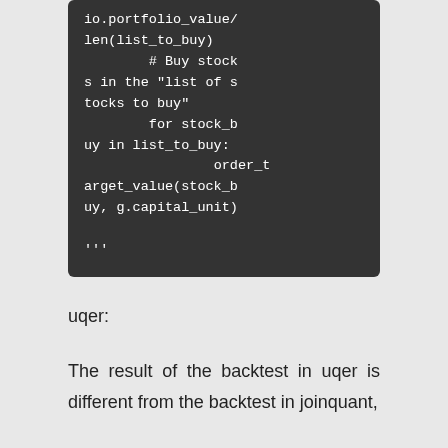io.portfolio_value/len(list_to_buy)
        # Buy stocks in the "list of stocks to buy"
        for stock_buy in list_to_buy:
                order_target_value(stock_buy, g.capital_unit)

'''
uqer:
The result of the backtest in uqer is different from the backtest in joinquant,